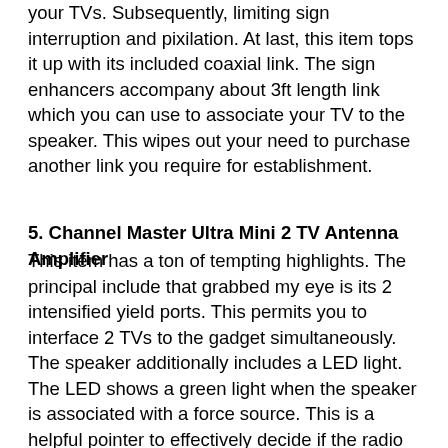your TVs. Subsequently, limiting sign interruption and pixilation. At last, this item tops it up with its included coaxial link. The sign enhancers accompany about 3ft length link which you can use to associate your TV to the speaker. This wipes out your need to purchase another link you require for establishment.
5. Channel Master Ultra Mini 2 TV Antenna Amplifier
This item has a ton of tempting highlights. The principal include that grabbed my eye is its 2 intensified yield ports. This permits you to interface 2 TVs to the gadget simultaneously. The speaker additionally includes a LED light. The LED shows a green light when the speaker is associated with a force source. This is a helpful pointer to effectively decide if the radio wire intensifier is fueled or not.